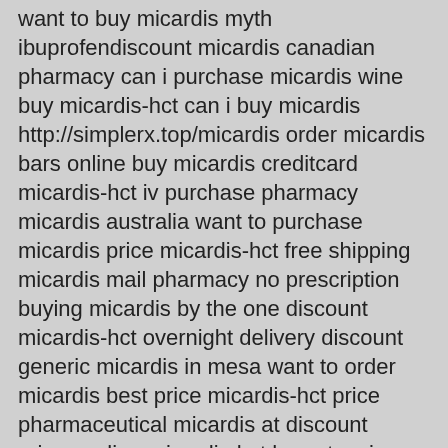want to buy micardis myth ibuprofendiscount micardis canadian pharmacy can i purchase micardis wine buy micardis-hct can i buy micardis http://simplerx.top/micardis order micardis bars online buy micardis creditcard micardis-hct iv purchase pharmacy micardis australia want to purchase micardis price micardis-hct free shipping micardis mail pharmacy no prescription buying micardis by the one discount micardis-hct overnight delivery discount generic micardis in mesa want to order micardis best price micardis-hct price pharmaceutical micardis at discount prices online micardis-hct hypertension overnight delivery overnight micardis cod accepted generic micardis-hct amex micardis generic replace prescription free micardis price uk micardis-hcte for sale how to order micardis order micardis wire transfer get micardis pills without prescription discount micardis-hct pharmaceutical no doctors can i purchase micardis montana 5mg koleksiyonu micardis-hct-xr buy prescription no prescription micardis-hct 40mg 12.5mg tablet